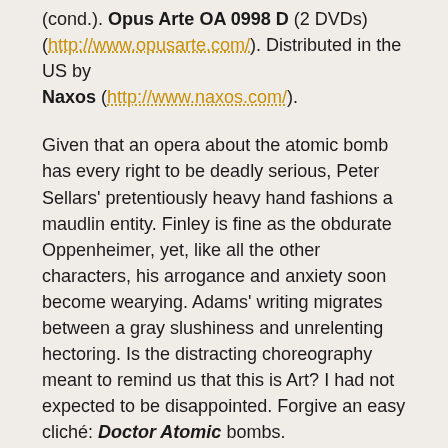(cond.). Opus Arte OA 0998 D (2 DVDs) (http://www.opusarte.com/). Distributed in the US by Naxos (http://www.naxos.com/).
Given that an opera about the atomic bomb has every right to be deadly serious, Peter Sellars' pretentiously heavy hand fashions a maudlin entity. Finley is fine as the obdurate Oppenheimer, yet, like all the other characters, his arrogance and anxiety soon become wearying. Adams' writing migrates between a gray slushiness and unrelenting hectoring. Is the distracting choreography meant to remind us that this is Art? I had not expected to be disappointed. Forgive an easy cliché: Doctor Atomic bombs.